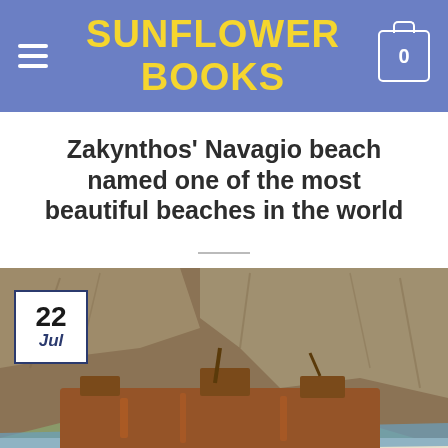SUNFLOWER BOOKS
Zakynthos' Navagio beach named one of the most beautiful beaches in the world
[Figure (photo): Photo of Navagio beach (Shipwreck Beach) in Zakynthos, Greece. Shows a rusted shipwreck on a white sandy beach with tall limestone cliffs in the background. Several tourists visible on the beach. Date badge showing '22 Jul' overlaid on the top-left corner of the photo.]